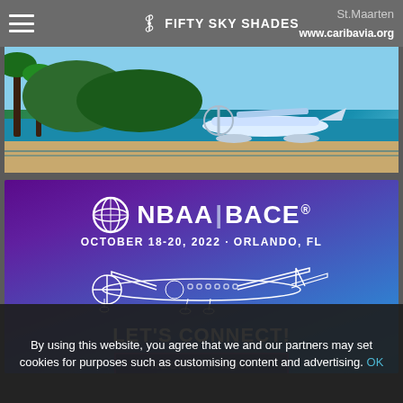FIFTY SKY SHADES | St.Maarten | www.caribavia.org
[Figure (photo): Seaplane on tropical beach water with palm trees, Caribbean scene]
[Figure (infographic): NBAA BACE advertisement banner with airplane illustration. Text: OCTOBER 18-20, 2022 · ORLANDO, FL. LET'S CONNECT! REGISTER NOW]
By using this website, you agree that we and our partners may set cookies for purposes such as customising content and advertising. OK